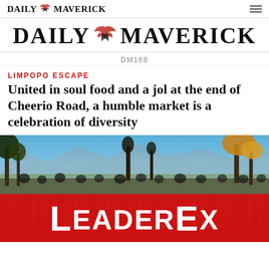DAILY MAVERICK
[Figure (logo): Daily Maverick large banner logo with eagle/bird graphic between DAILY and MAVERICK in large serif bold uppercase text]
DM168
LIMPOPO ESCAPE
United in soul food and a jol at the end of Cheerio Road, a humble market is a celebration of diversity
[Figure (photo): Outdoor scene with people gathered under trees, blue sky and mountains in the background, crowd visible in lower portion]
[Figure (logo): LeaderEx advertisement banner in red with white bold text reading LEADEREX]